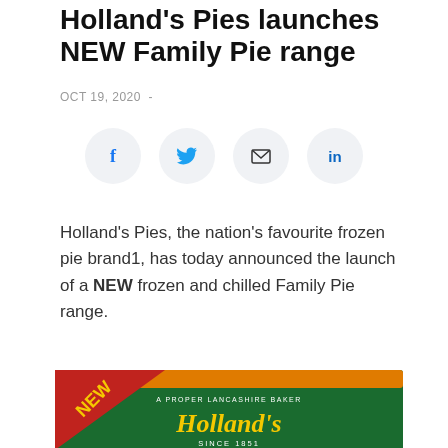Holland's Pies launches NEW Family Pie range
OCT 19, 2020 -
[Figure (infographic): Social sharing buttons: Facebook, Twitter, Email, LinkedIn arranged in a horizontal row of circular icons]
Holland's Pies, the nation's favourite frozen pie brand1, has today announced the launch of a NEW frozen and chilled Family Pie range.
[Figure (photo): Holland's Pies Family Pie product box — green box with red 'NEW' corner badge, gold Holland's logo, text reads 'A PROPER LANCASHIRE BAKER', 'Holland's', 'SINCE 1851', 'POTATO & MEAT']